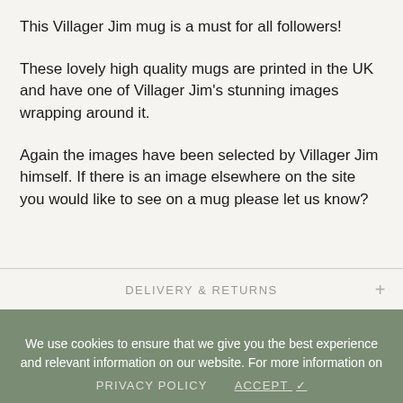This Villager Jim mug is a must for all followers!
These lovely high quality mugs are printed in the UK and have one of Villager Jim's stunning images wrapping around it.
Again the images have been selected by Villager Jim himself. If there is an image elsewhere on the site you would like to see on a mug please let us know?
DELIVERY & RETURNS
We use cookies to ensure that we give you the best experience and relevant information on our website. For more information on how we use cookies, please visit our privacy policy
PRIVACY POLICY   ACCEPT ✓